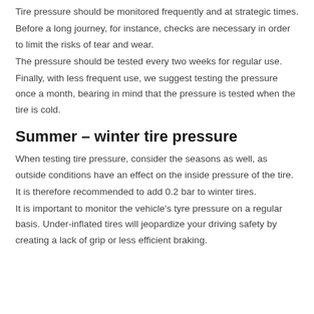Tire pressure should be monitored frequently and at strategic times.
Before a long journey, for instance, checks are necessary in order to limit the risks of tear and wear.
The pressure should be tested every two weeks for regular use.
Finally, with less frequent use, we suggest testing the pressure once a month, bearing in mind that the pressure is tested when the tire is cold.
Summer – winter tire pressure
When testing tire pressure, consider the seasons as well, as outside conditions have an effect on the inside pressure of the tire.
It is therefore recommended to add 0.2 bar to winter tires.
It is important to monitor the vehicle's tyre pressure on a regular basis. Under-inflated tires will jeopardize your driving safety by creating a lack of grip or less efficient braking.